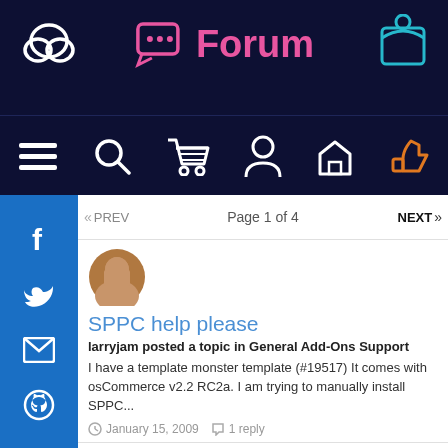Forum
PREV  Page 1 of 4  NEXT
SPPC help please
larryjam posted a topic in General Add-Ons Support
I have a template monster template (#19517) It comes with osCommerce v2.2 RC2a. I am trying to manually install SPPC...
January 15, 2009  1 reply
PayPal Website Payments Standard - Error!